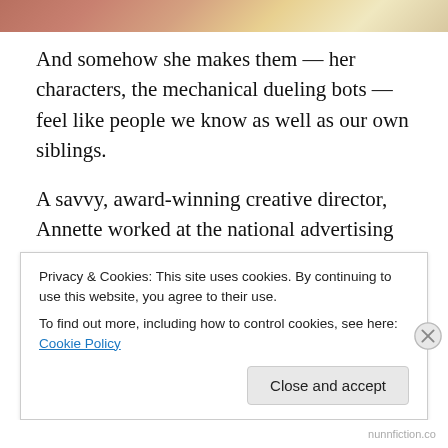[Figure (photo): Partial photo strip showing hands and colorful artwork/drawings at top of page]
And somehow she makes them — her characters, the mechanical dueling bots — feel like people we know as well as our own siblings.
A savvy, award-winning creative director, Annette worked at the national advertising and graphic design firm GSD&M in Austin, Texas for several years before she and her husband moved to Neptune Beach, Florida. Today she writes and draws books for young readers and works part time at the indie book store The BookMark
Privacy & Cookies: This site uses cookies. By continuing to use this website, you agree to their use.
To find out more, including how to control cookies, see here: Cookie Policy
Close and accept